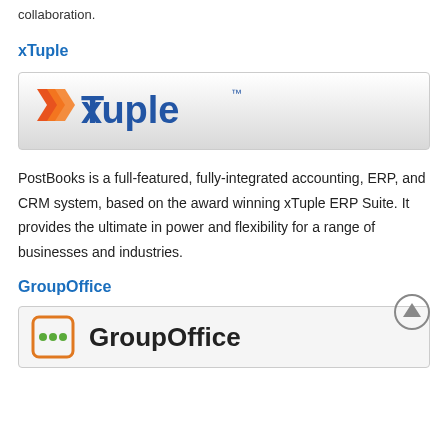collaboration.
xTuple
[Figure (logo): xTuple logo with orange arrow-x and blue 'Tuple' text and TM mark on gradient background]
PostBooks is a full-featured, fully-integrated accounting, ERP, and CRM system, based on the award winning xTuple ERP Suite. It provides the ultimate in power and flexibility for a range of businesses and industries.
GroupOffice
[Figure (logo): GroupOffice logo with orange square icon containing three green dots and bold GroupOffice text]